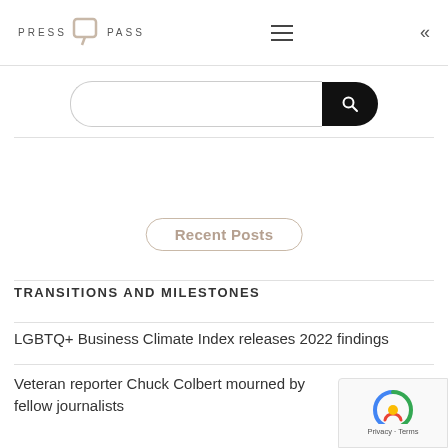PRESS Q PASS
[Figure (other): Search bar with rounded input field and black search button with magnifying glass icon]
Recent Posts
TRANSITIONS AND MILESTONES
LGBTQ+ Business Climate Index releases 2022 findings
Veteran reporter Chuck Colbert mourned by fellow journalists